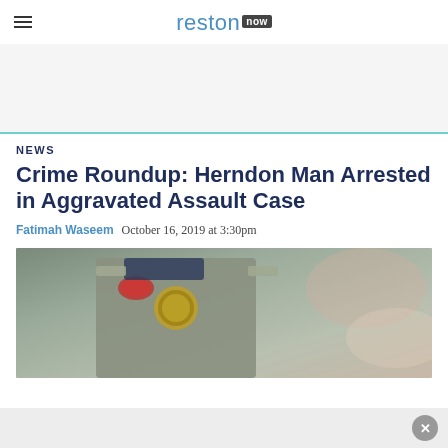reston now
NEWS
Crime Roundup: Herndon Man Arrested in Aggravated Assault Case
Fatimah Waseem  October 16, 2019 at 3:30pm
[Figure (photo): Close-up photo of a police officer in grey uniform with police badge/patch visible]